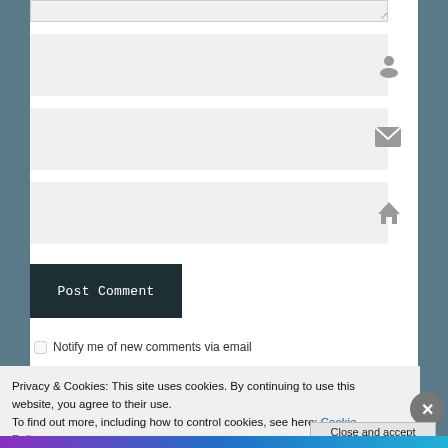[Figure (screenshot): A web form with three input fields (name with person icon, email with envelope icon, website with home icon), a dark 'Post Comment' button, a checkbox row for email notification, and a cookie consent banner at the bottom with 'Close and accept' button.]
Privacy & Cookies: This site uses cookies. By continuing to use this website, you agree to their use.
To find out more, including how to control cookies, see here: Cookie Policy
Close and accept